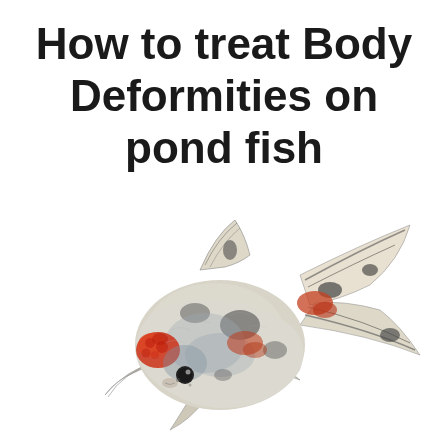How to treat Body Deformities on pond fish
[Figure (photo): A fancy goldfish (calico ryukin or similar variety) with white, black, and red/orange coloring, shown against a white background. The fish has flowing fins and tail, and a distinctive head growth (wen), illustrating body deformities on pond fish.]